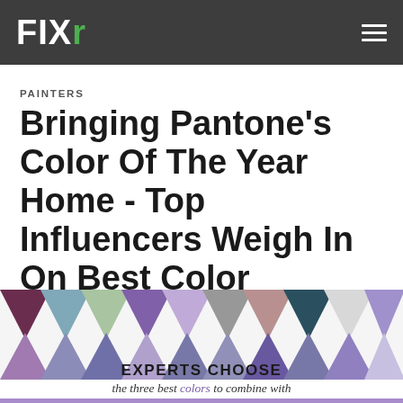FIXR
PAINTERS
Bringing Pantone’s Color Of The Year Home - Top Influencers Weigh In On Best Color Pairings
[Figure (illustration): A row of alternating upward and downward pointing triangles in various colors including dark purple, steel blue, sage green, medium purple, light lavender, gray, mauve, dark purple, dark teal, light gray, and light purple, representing color pairings with Pantone’s color of the year.]
EXPERTS CHOOSE the three best colors to combine with